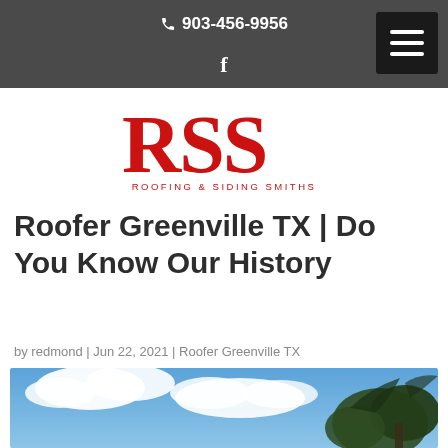903-456-9956
[Figure (logo): RSS Roofing & Siding Smiths logo — large red serif letters RSS above the text ROOFING & SIDING SMITHS]
Roofer Greenville TX | Do You Know Our History
by redmond | Jun 22, 2021 | Roofer Greenville TX
[Figure (photo): Outdoor photo showing blue sky with white clouds and tree branches in the foreground]